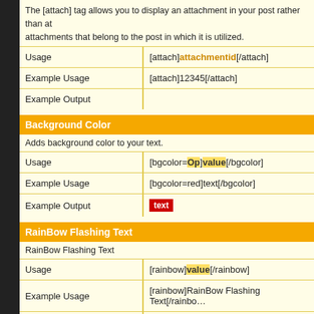The [attach] tag allows you to display an attachment in your post rather than at attachments that belong to the post in which it is utilized.
| Usage | [attach]attachmentid[/attach] |
| --- | --- |
| Example Usage | [attach]12345[/attach] |
| Example Output |  |
Background Color
Adds background color to your text.
| Usage | [bgcolor=Op]value[/bgcolor] |
| --- | --- |
| Example Usage | [bgcolor=red]text[/bgcolor] |
| Example Output | text (red box) |
RainBow Flashing Text
RainBow Flashing Text
| Usage | [rainbow]value[/rainbow] |
| --- | --- |
| Example Usage | [rainbow]RainBow Flashing Text[/rainbow] |
| Example Output | RainBow Flashing Text |
Right to left Text
Add an ability to write from Right to left